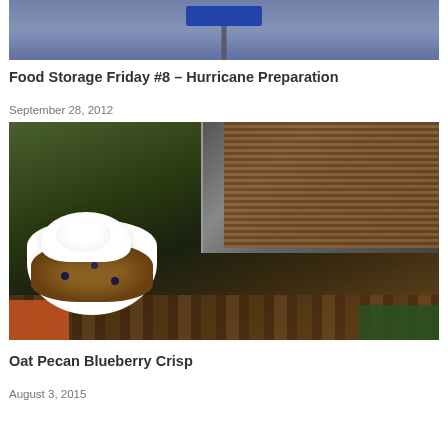[Figure (photo): Partial photo of a blue sign on a pole against a blue/gray background — top portion cut off]
Food Storage Friday #8 – Hurricane Preparation
September 28, 2012
[Figure (photo): A white bowl filled with oat pecan blueberry crisp topped with whipped cream, with a baking pan of crisp in the background, on a wooden surface with orange and green cloth]
Oat Pecan Blueberry Crisp
August 3, 2015